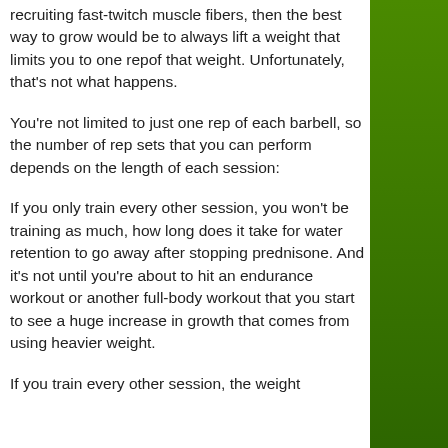recruiting fast-twitch muscle fibers, then the best way to grow would be to always lift a weight that limits you to one repof that weight. Unfortunately, that's not what happens.
You're not limited to just one rep of each barbell, so the number of rep sets that you can perform depends on the length of each session:
If you only train every other session, you won't be training as much, how long does it take for water retention to go away after stopping prednisone. And it's not until you're about to hit an endurance workout or another full-body workout that you start to see a huge increase in growth that comes from using heavier weight.
If you train every other session, the weight you use here will be something you do the